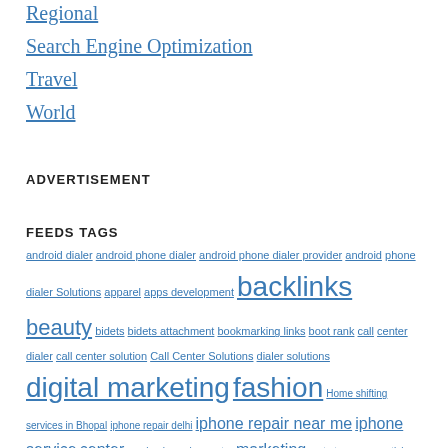Regional
Search Engine Optimization
Travel
World
ADVERTISEMENT
FEEDS TAGS
android dialer android phone dialer android phone dialer provider android phone dialer Solutions apparel apps development backlinks beauty bidets bidets attachment bookmarking links boot rank call center dialer call center solution Call Center Solutions dialer solutions digital marketing fashion Home shifting services in Bhopal iphone repair delhi iphone repair near me iphone service center macbook service center marketing meta tags news article packers and movers Bhopal Prestige Smart City brochure Prestige Smart City cost